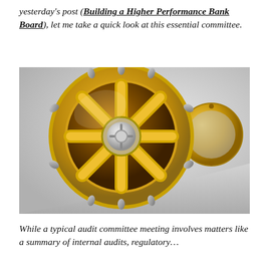yesterday's post (Building a Higher Performance Bank Board), let me take a quick look at this essential committee.
[Figure (photo): A gold bank vault door, ornate with a large circular locking mechanism featuring an X-shaped handle and metal bolts around the perimeter, shown partially open against a light grey background.]
While a typical audit committee meeting involves matters like a summary of internal audits, regulatory...